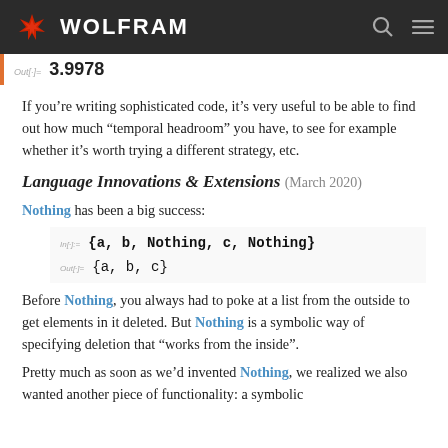WOLFRAM
Out[·]= 3.9978
If you’re writing sophisticated code, it’s very useful to be able to find out how much “temporal headroom” you have, to see for example whether it’s worth trying a different strategy, etc.
Language Innovations & Extensions (March 2020)
Nothing has been a big success:
In[·]:= {a, b, Nothing, c, Nothing}
Out[·]= {a, b, c}
Before Nothing, you always had to poke at a list from the outside to get elements in it deleted. But Nothing is a symbolic way of specifying deletion that “works from the inside”.
Pretty much as soon as we’d invented Nothing, we realized we also wanted another piece of functionality: a symbolic